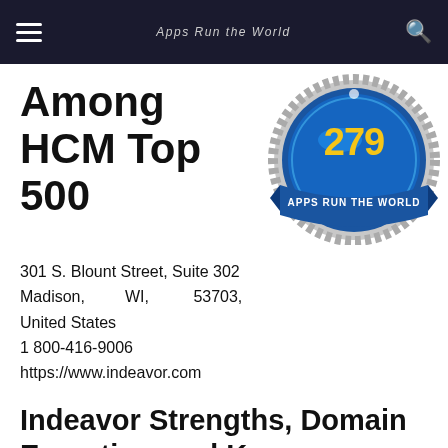Apps Run The World
Among HCM Top 500
[Figure (illustration): Blue medallion/badge with number 279 in gold and 'APPS RUN THE WORLD' banner ribbon]
301 S. Blount Street, Suite 302
Madison,          WI,          53703,
United States
1 800-416-9006
https://www.indeavor.com
Indeavor Strengths, Domain Expertise, and Key Differentiators
Indeavor is workforce management and labour optimization solutions for CPG, Food & Beverage, and Process Manufacturers, Energy